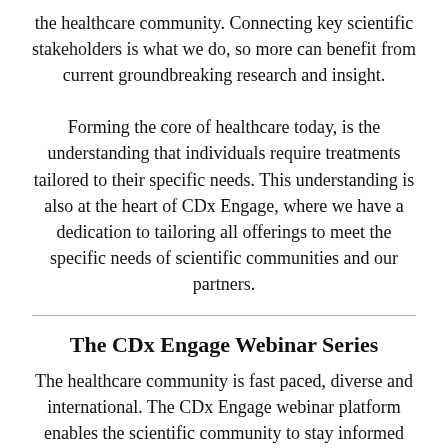the healthcare community. Connecting key scientific stakeholders is what we do, so more can benefit from current groundbreaking research and insight.

Forming the core of healthcare today, is the understanding that individuals require treatments tailored to their specific needs. This understanding is also at the heart of CDx Engage, where we have a dedication to tailoring all offerings to meet the specific needs of scientific communities and our partners.
The CDx Engage Webinar Series
The healthcare community is fast paced, diverse and international. The CDx Engage webinar platform enables the scientific community to stay informed with the latest developments and innovations with